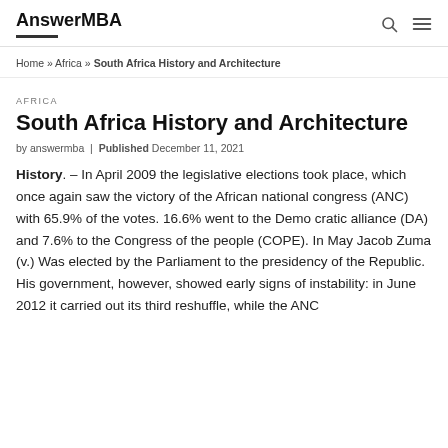AnswerMBA
Home » Africa » South Africa History and Architecture
AFRICA
South Africa History and Architecture
by answermba | Published December 11, 2021
History. – In April 2009 the legislative elections took place, which once again saw the victory of the African national congress (ANC) with 65.9% of the votes. 16.6% went to the Demo cratic alliance (DA) and 7.6% to the Congress of the people (COPE). In May Jacob Zuma (v.) Was elected by the Parliament to the presidency of the Republic. His government, however, showed early signs of instability: in June 2012 it carried out its third reshuffle, while the ANC